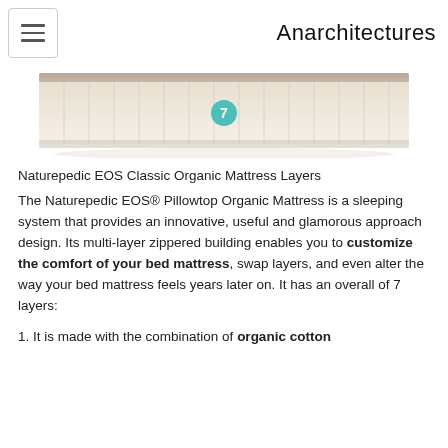Anarchitectures
[Figure (photo): Top-down view of a mattress layer showing segmented foam or coil sections in a beige/cream color with a teal circular badge showing the number 7 in the center]
Naturepedic EOS Classic Organic Mattress Layers
The Naturepedic EOS® Pillowtop Organic Mattress is a sleeping system that provides an innovative, useful and glamorous approach design. Its multi-layer zippered building enables you to customize the comfort of your bed mattress, swap layers, and even alter the way your bed mattress feels years later on. It has an overall of 7 layers:
1. It is made with the combination of organic cotton